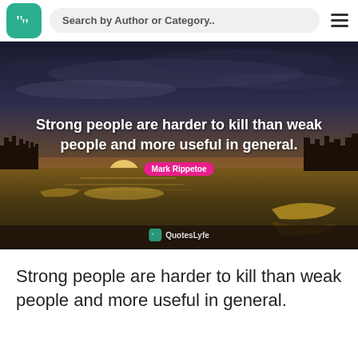Search by Author or Category..
[Figure (photo): A sunset over a calm lake with silhouetted trees and two canoes reflected in the water, with a quote overlay reading 'Strong people are harder to kill than weak people and more useful in general.' attributed to Mark Rippetoe, with QuotesLyfe watermark.]
Strong people are harder to kill than weak people and more useful in general.